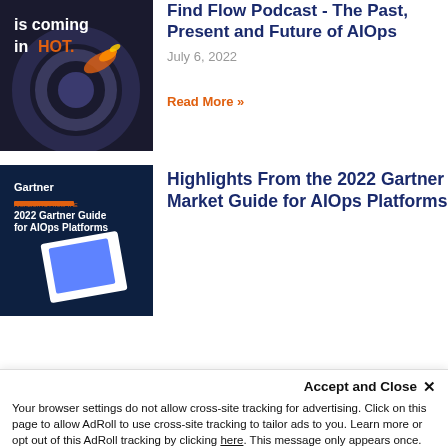[Figure (photo): Dark themed podcast thumbnail showing speedometer/target imagery with text 'is coming in HOT.' in white and orange]
Find Flow Podcast - The Past, Present and Future of AIOps
July 6, 2022
Read More »
[Figure (photo): Gartner 2022 Guide for AIOps Platforms book cover on dark blue background]
Highlights From the 2022 Gartner Market Guide for AIOps Platforms
Accept and Close ✕
Your browser settings do not allow cross-site tracking for advertising. Click on this page to allow AdRoll to use cross-site tracking to tailor ads to you. Learn more or opt out of this AdRoll tracking by clicking here. This message only appears once.